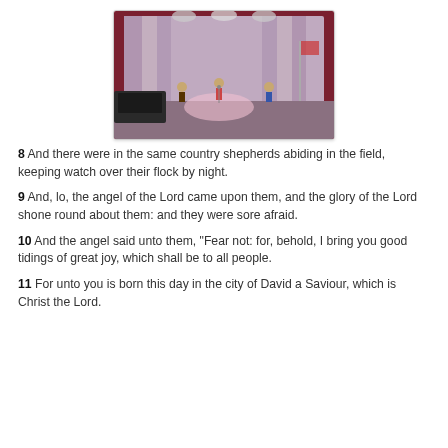[Figure (screenshot): Animated cartoon scene of characters on a stage with a red curtain backdrop and spotlight, resembling a scene from A Charlie Brown Christmas.]
8 And there were in the same country shepherds abiding in the field, keeping watch over their flock by night.
9 And, lo, the angel of the Lord came upon them, and the glory of the Lord shone round about them: and they were sore afraid.
10 And the angel said unto them, "Fear not: for, behold, I bring you good tidings of great joy, which shall be to all people.
11 For unto you is born this day in the city of David a Saviour, which is Christ the Lord.